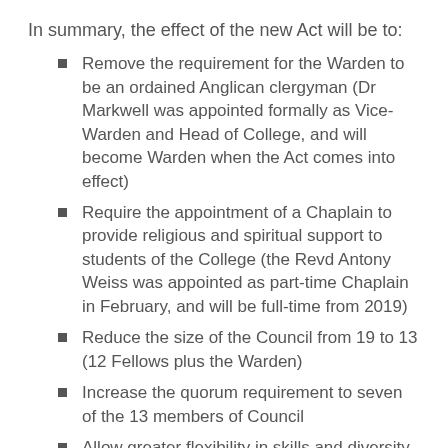In summary, the effect of the new Act will be to:
Remove the requirement for the Warden to be an ordained Anglican clergyman (Dr Markwell was appointed formally as Vice-Warden and Head of College, and will become Warden when the Act comes into effect)
Require the appointment of a Chaplain to provide religious and spiritual support to students of the College (the Revd Antony Weiss was appointed as part-time Chaplain in February, and will be full-time from 2019)
Reduce the size of the Council from 19 to 13 (12 Fellows plus the Warden)
Increase the quorum requirement to seven of the 13 members of Council
Allow greater flexibility in skills and diversity on Council by allowing two Fellows to be appointed, and as well by updating the